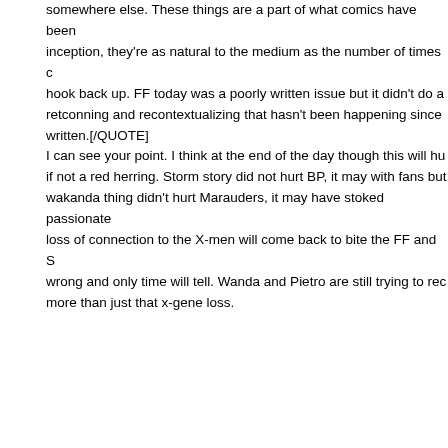somewhere else. These things are a part of what comics have been since inception, they're as natural to the medium as the number of times characters hook back up. FF today was a poorly written issue but it didn't do anything retconning and recontextualizing that hasn't been happening since it was written.[/QUOTE] I can see your point. I think at the end of the day though this will hurt if not a red herring. Storm story did not hurt BP, it may with fans but the wakanda thing didn't hurt Marauders, it may have stoked passionate. The loss of connection to the X-men will come back to bite the FF and Storm wrong and only time will tell. Wanda and Pietro are still trying to reconcile more than just that x-gene loss.
butterflykyss
[QUOTE=jwatson;5237301]I honestly don't remember but i know for the narrative that Storm had nothing without tchalla and just want to not to take away from her past but i want to see my girl stand on her to say she had nothing and wasn't being used but i enjoyed X-treme running and something was on the horizon before it was pulled. I did Extraodrinary X-men but i enjoyed the hell out of the issues and Storm doing fine and then she was pulled again and all of a sudden stepped yes that may be on the x-office but all i know is as a Storm fan what to go get BP, others do. I want Storm to have prominence again on whatever reason anytime she is paired with tchalla she pays and again x-office but as an x-fan first and a storm fan it just ain't worth it for Storm lately and i don't bemoan anyone what they like, just not for m